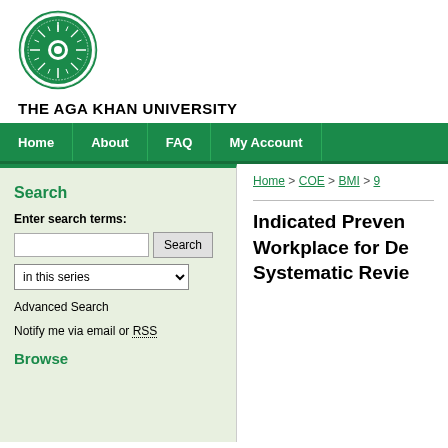[Figure (logo): The Aga Khan University circular green logo with sunburst design]
THE AGA KHAN UNIVERSITY
Home  About  FAQ  My Account
Search
Enter search terms:
Advanced Search
Notify me via email or RSS
Browse
Home > COE > BMI > 9
Indicated Prevention in the Workplace for Depression: Systematic Revie